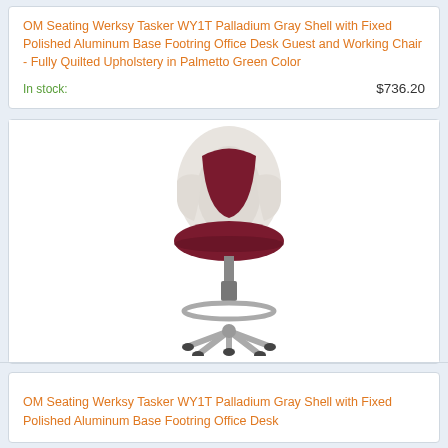OM Seating Werksy Tasker WY1T Palladium Gray Shell with Fixed Polished Aluminum Base Footring Office Desk Guest and Working Chair - Fully Quilted Upholstery in Palmetto Green Color
In stock:    $736.20
[Figure (photo): Office task chair with white/cream shell back, dark burgundy/wine colored quilted seat and back pad, polished aluminum five-star base with casters and a circular footring]
OM Seating Werksy Tasker WY1T Palladium Gray Shell with Fixed Polished Aluminum Base Footring Office Desk